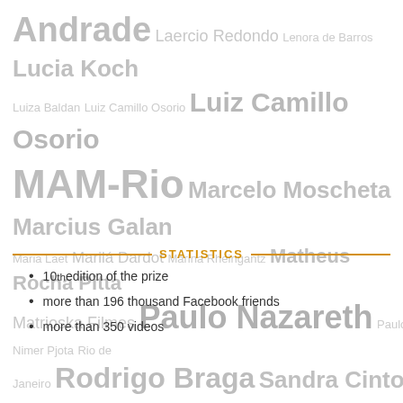[Figure (infographic): Tag cloud with names including Andrade, Laercio Redondo, Lenora de Barros, Lucia Koch, Luiza Baldan, Luiz Camillo Osorio, MAM-Rio, Marcelo Moscheta, Marcius Galan, Maria Laet, Marilá Dardot, Marina Rheingantz, Matheus Rocha Pitta, Matrioska Filmes, Paulo Nazareth, Paulo Nimer Pjota, Rio de Janeiro, Rodrigo Braga, Sandra Cinto, Sara Ramo, Sofia Borges, Sào Paulo, Tamar Guimaraes, Tatiana Blass, Thiago Martins de Melo, Virginia de Medeiros, Yuri Firmeza]
STATISTICS
10th edition of the prize
more than 196 thousand Facebook friends
more than 350 videos